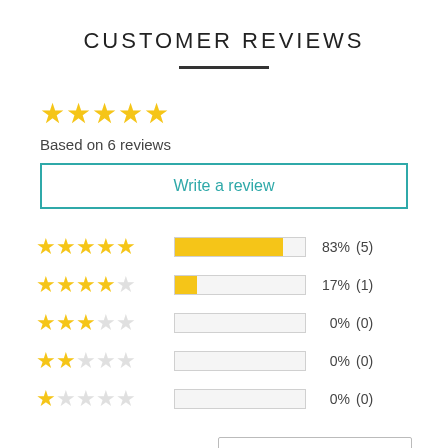CUSTOMER REVIEWS
[Figure (infographic): Five yellow filled stars rating display]
Based on 6 reviews
Write a review
[Figure (bar-chart): Review breakdown]
Most Recent